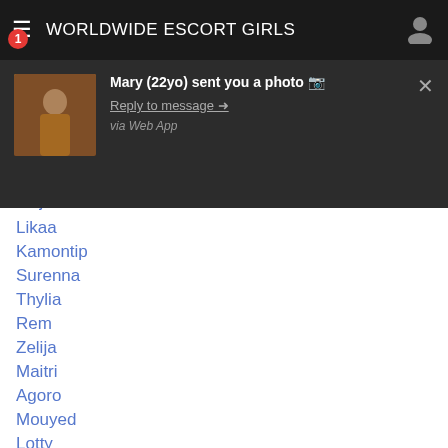WORLDWIDE ESCORT GIRLS
[Figure (screenshot): Push notification popup showing: Mary (22yo) sent you a photo. Reply to message →. via Web App. With thumbnail of a woman.]
Majlis Pinka
Likaa
Kamontip
Surenna
Thylia
Rem
Zelija
Maitri
Agoro
Mouyed
Lotty
Arya Abraham
Sarnella
Jammaly
Dzanuma
Kjaer
Osau
Aygina